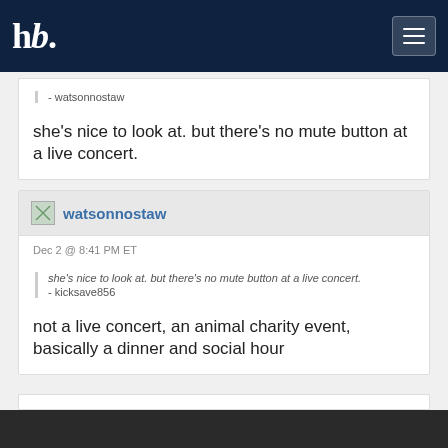hb.
- watsonnostaw
she's nice to look at. but there's no mute button at a live concert.
watsonnostaw
Dec 2 @ 8:41 PM ET
she's nice to look at. but there's no mute button at a live concert.
- kicksave856
not a live concert, an animal charity event, basically a dinner and social hour